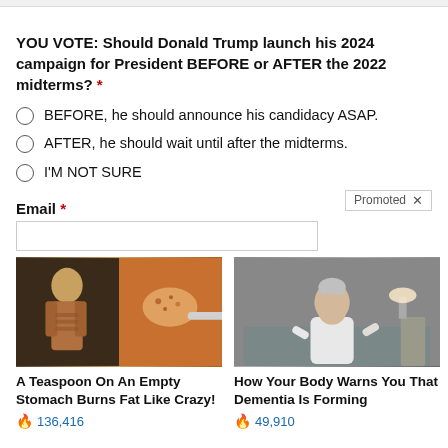YOU VOTE: Should Donald Trump launch his 2024 campaign for President BEFORE or AFTER the 2022 midterms? *
BEFORE, he should announce his candidacy ASAP.
AFTER, he should wait until after the midterms.
I'M NOT SURE
Email *
[Figure (photo): Ad image showing a fit person and a spoon with orange spice powder]
A Teaspoon On An Empty Stomach Burns Fat Like Crazy!
🔥 136,416
[Figure (photo): Ad image showing an elderly person sitting on a bed looking downward]
How Your Body Warns You That Dementia Is Forming
🔥 49,910